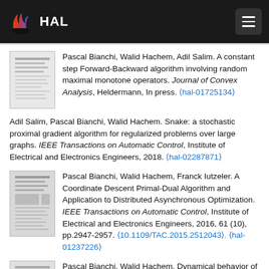HAL
Pascal Bianchi, Walid Hachem, Adil Salim. A constant step Forward-Backward algorithm involving random maximal monotone operators. Journal of Convex Analysis, Heldermann, In press. ⟨hal-01725134⟩
Adil Salim, Pascal Bianchi, Walid Hachem. Snake: a stochastic proximal gradient algorithm for regularized problems over large graphs. IEEE Transactions on Automatic Control, Institute of Electrical and Electronics Engineers, 2018. ⟨hal-02287871⟩
Pascal Bianchi, Walid Hachem, Franck Iutzeler. A Coordinate Descent Primal-Dual Algorithm and Application to Distributed Asynchronous Optimization. IEEE Transactions on Automatic Control, Institute of Electrical and Electronics Engineers, 2016, 61 (10), pp.2947-2957. ⟨10.1109/TAC.2015.2512043⟩. ⟨hal-01237226⟩
Pascal Bianchi, Walid Hachem. Dynamical behavior of a stochastic forward-backward algorithm using